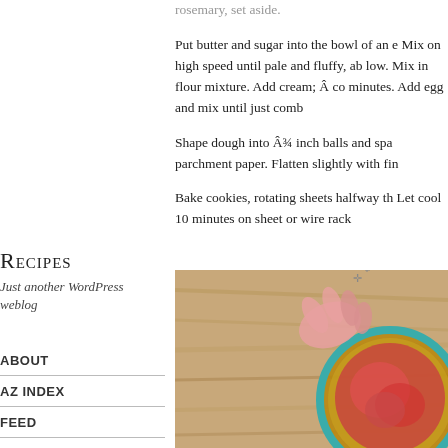rosemary, set aside.
Put butter and sugar into the bowl of an e Mix on high speed until pale and fluffy, ab low. Mix in flour mixture. Add cream; Â co minutes. Add egg and mix until just comb
Shape dough into Â¾ inch balls and spa parchment paper. Flatten slightly with fin
Bake cookies, rotating sheets halfway th Let cool 10 minutes on sheet or wire rack
Recipes
Just another WordPress weblog
ABOUT
AZ INDEX
FEED
[Figure (photo): Photo of a bowl with red/pink chopped ingredients on a wooden cutting board, viewed from above with a teal/blue bowl rim visible.]